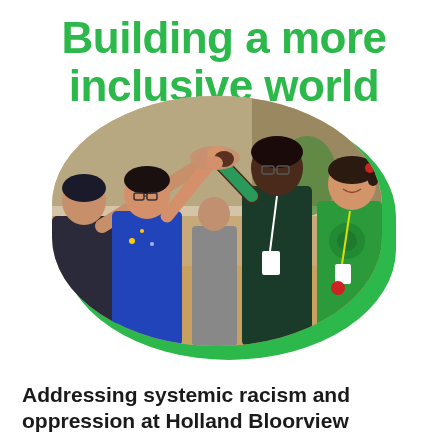Building a more inclusive world
[Figure (photo): Four young women of diverse ethnicities doing a group high-five in an indoor setting. Some are wearing blue and green shirts. One woman wears a green lanyard with a badge.]
Addressing systemic racism and oppression at Holland Bloorview